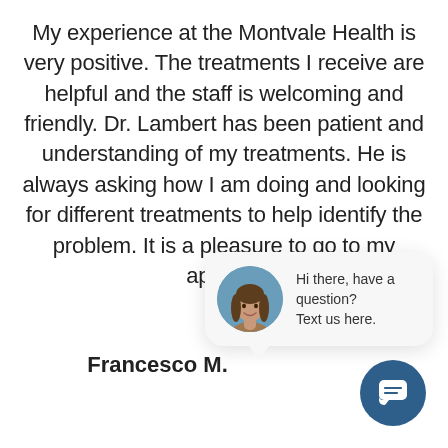My experience at the Montvale Health is very positive. The treatments I receive are helpful and the staff is welcoming and friendly. Dr. Lambert has been patient and understanding of my treatments. He is always asking how I am doing and looking for different treatments to help identify the problem. It is a pleasure to go to my appointi
[Figure (other): Chat widget popup with a female avatar photo and text 'Hi there, have a question? Text us here.']
Francesco M.
[Figure (other): Blue circular chat icon button with a message/text bubble icon]